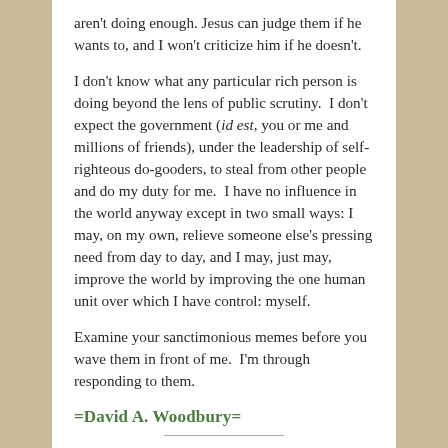aren't doing enough. Jesus can judge them if he wants to, and I won't criticize him if he doesn't.
I don't know what any particular rich person is doing beyond the lens of public scrutiny.  I don't expect the government (id est, you or me and millions of friends), under the leadership of self-righteous do-gooders, to steal from other people and do my duty for me.  I have no influence in the world anyway except in two small ways: I may, on my own, relieve someone else's pressing need from day to day, and I may, just may, improve the world by improving the one human unit over which I have control: myself.
Examine your sanctimonious memes before you wave them in front of me.  I'm through responding to them.
=David A. Woodbury=